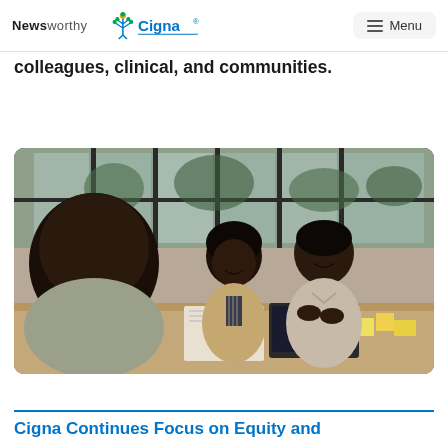Newsworthy | Cigna | Menu
colleagues, clinical, and communities.
[Figure (photo): Three people sitting at a conference table in a modern office with large windows. Two are smiling and appear to be engaged in conversation — a woman in a striped top with a blazer and a man in a light-colored shirt. A third person is partially visible in the foreground.]
Cigna Continues Focus on Equity and